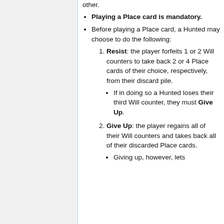other.
Playing a Place card is mandatory.
Before playing a Place card, a Hunted may choose to do the following:
Resist: the player forfeits 1 or 2 Will counters to take back 2 or 4 Place cards of their choice, respectively, from their discard pile.
If in doing so a Hunted loses their third Will counter, they must Give Up.
Give Up: the player regains all of their Will counters and takes back all of their discarded Place cards.
Giving up, however, lets